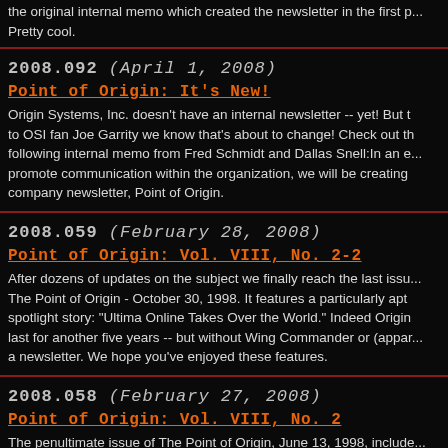the original internal memo which created the newsletter in the first p... Pretty cool.
2008.092 (April 1, 2008)
Point of Origin: It's New!
Origin Systems, Inc. doesn't have an internal newsletter -- yet! But to OSI fan Joe Garrity we know that's about to change! Check out the following internal memo from Fred Schmidt and Dallas Snell:In an e... promote communication within the organization, we will be creating a company newsletter, Point of Origin.
2008.059 (February 28, 2008)
Point of Origin: Vol. VIII, No. 2-2
After dozens of updates on the subject we finally reach the last issu... The Point of Origin - October 30, 1998. It features a particularly apt spotlight story: "Ultima Online Takes Over the World." Indeed Origin last for another five years -- but without Wing Commander or (appar... a newsletter. We hope you've enjoyed these features.
2008.058 (February 27, 2008)
Point of Origin: Vol. VIII, No. 2
The penultimate issue of The Point of Origin, June 13, 1998, include... a single mention of Wing Commander. Can this really be the end? T